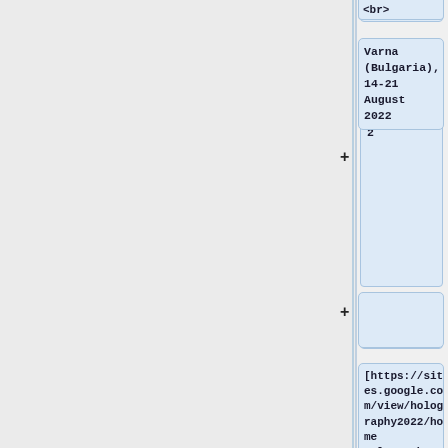<br>
Varna (Bulgaria), 14-21 August 2022
[https://sites.google.com/view/holography2022/home Holography 2022: quantum matter and spacetime]
<br>
APCTP, Pohang (Korea), 11